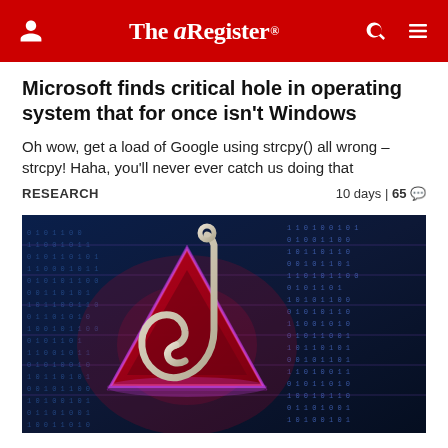The Register
Microsoft finds critical hole in operating system that for once isn't Windows
Oh wow, get a load of Google using strcpy() all wrong – strcpy! Haha, you'll never ever catch us doing that
RESEARCH  10 days | 65 💬
[Figure (photo): Cybersecurity concept image showing a fishing hook over a red warning triangle on a digital circuit board background with blue binary code]